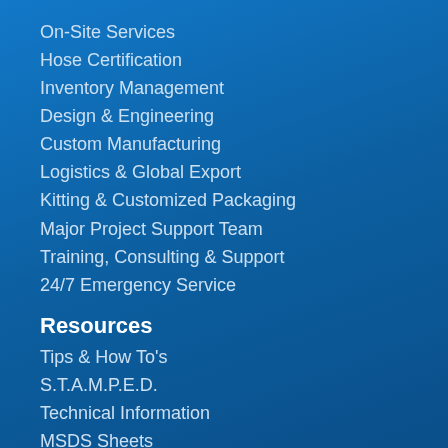On-Site Services
Hose Certification
Inventory Management
Design & Engineering
Custom Manufacturing
Logistics & Global Export
Kitting & Customized Packaging
Major Project Support Team
Training, Consulting & Support
24/7 Emergency Service
Resources
Tips & How To's
S.T.A.M.P.E.D.
Technical Information
MSDS Sheets
User Guides & Manuals
Quick Reference Posters
Watch it Work
PDF Catalog
About Us